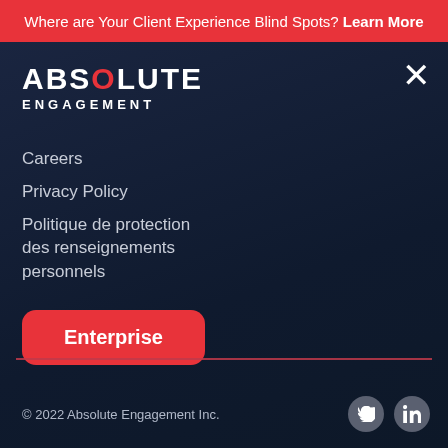Where are Your Client Experience Blind Spots? Learn More
[Figure (logo): Absolute Engagement logo with red O in ABSOLUTE and ENGAGEMENT below]
Careers
Privacy Policy
Politique de protection des renseignements personnels
Enterprise
© 2022 Absolute Engagement Inc.